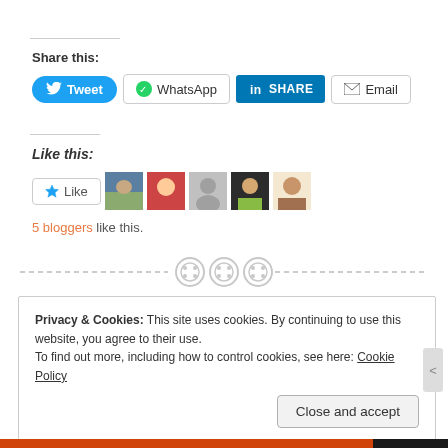Share this:
[Figure (screenshot): Social share buttons: Tweet (Twitter), WhatsApp, LinkedIn Share, Email]
Like this:
[Figure (screenshot): Like button with 5 blogger avatar thumbnails]
5 bloggers like this.
[Figure (infographic): Decorative dashed divider with three sewing button icons]
Privacy & Cookies: This site uses cookies. By continuing to use this website, you agree to their use. To find out more, including how to control cookies, see here: Cookie Policy
Close and accept